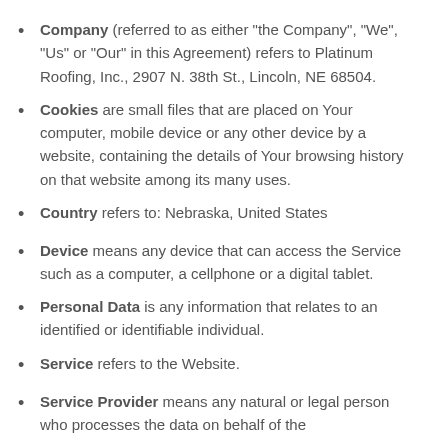Company (referred to as either “the Company”, “We”, “Us” or “Our” in this Agreement) refers to Platinum Roofing, Inc., 2907 N. 38th St., Lincoln, NE 68504.
Cookies are small files that are placed on Your computer, mobile device or any other device by a website, containing the details of Your browsing history on that website among its many uses.
Country refers to: Nebraska, United States
Device means any device that can access the Service such as a computer, a cellphone or a digital tablet.
Personal Data is any information that relates to an identified or identifiable individual.
Service refers to the Website.
Service Provider means any natural or legal person who processes the data on behalf of the